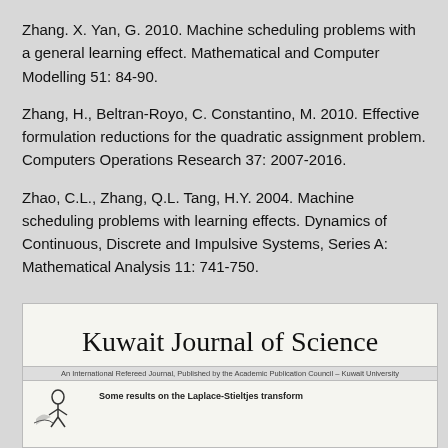Zhang. X. Yan, G. 2010. Machine scheduling problems with a general learning effect. Mathematical and Computer Modelling 51: 84-90.
Zhang, H., Beltran-Royo, C. Constantino, M. 2010. Effective formulation reductions for the quadratic assignment problem. Computers Operations Research 37: 2007-2016.
Zhao, C.L., Zhang, Q.L. Tang, H.Y. 2004. Machine scheduling problems with learning effects. Dynamics of Continuous, Discrete and Impulsive Systems, Series A: Mathematical Analysis 11: 741-750.
[Figure (screenshot): Kuwait Journal of Science journal header/cover image showing the journal title in cursive font, subtitle 'An International Refereed Journal, Published by the Academic Publication Council - Kuwait University', and beginning of an article titled 'Some results on the Laplace-Stieltjes transform']